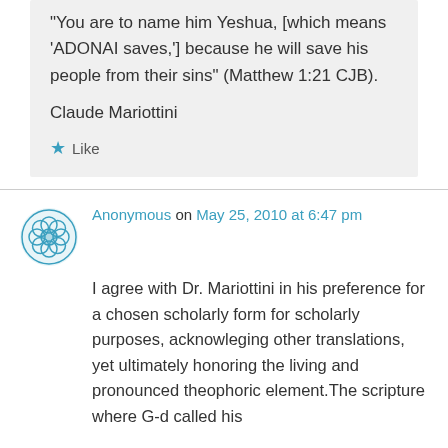“You are to name him Yeshua, [which means ‘ADONAI saves,’] because he will save his people from their sins” (Matthew 1:21 CJB).
Claude Mariottini
Like
Anonymous on May 25, 2010 at 6:47 pm
I agree with Dr. Mariottini in his preference for a chosen scholarly form for scholarly purposes, acknowleging other translations, yet ultimately honoring the living and pronounced theophoric element.The scripture where G-d called his